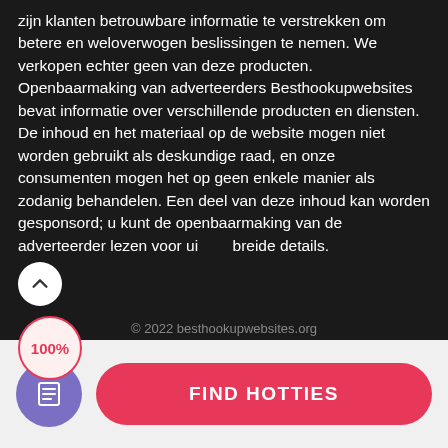zijn klanten betrouwbare informatie te verstrekken om betere en weloverwogen beslissingen te nemen. We verkopen echter geen van deze producten. Openbaarmaking van adverteerders Besthookupwebsites bevat informatie over verschillende producten en diensten. De inhoud en het materiaal op de website mogen niet worden gebruikt als deskundige raad, en onze consumenten mogen het op geen enkele manier als zodanig behandelen. Een deel van deze inhoud kan worden gesponsord; u kunt de openbaarmaking van de adverteerder lezen voor uitgebreide details.
© 2022 besthookupwebsites.org
[Figure (infographic): 100% badge circle with red border and text, and a scroll-to-top arrow button circle]
[Figure (infographic): Purple circle icon with document/list symbol and a pink rounded-rectangle button labeled FIND HOTTIES]